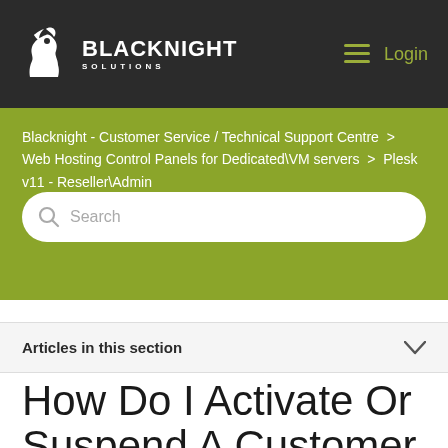BLACKNIGHT SOLUTIONS — Login
Blacknight - Customer Service / Technical Support Centre > Web Hosting Control Panels for Dedicated\VM servers > Plesk v11 - Reseller\Admin
Search
Articles in this section
How Do I Activate Or Suspend A Customer Or